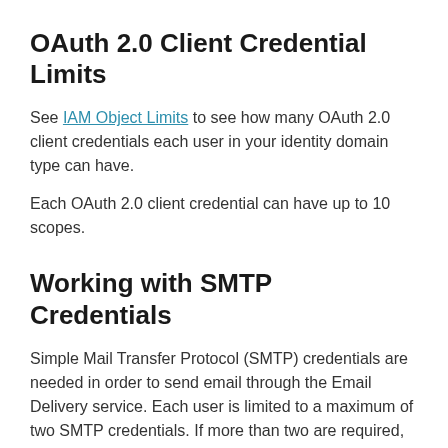OAuth 2.0 Client Credential Limits
See IAM Object Limits to see how many OAuth 2.0 client credentials each user in your identity domain type can have.
Each OAuth 2.0 client credential can have up to 10 scopes.
Working with SMTP Credentials
Simple Mail Transfer Protocol (SMTP) credentials are needed in order to send email through the Email Delivery service. Each user is limited to a maximum of two SMTP credentials. If more than two are required, they must be generated on other existing users or additional users